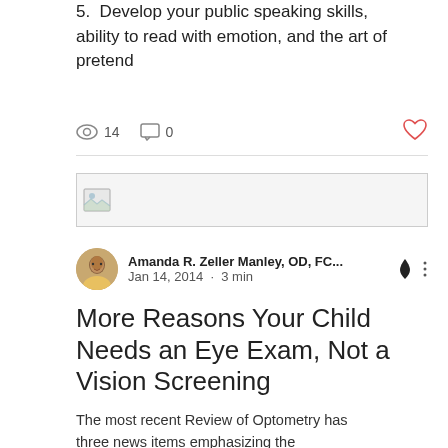5. Develop your public speaking skills, ability to read with emotion, and the art of pretend
14 views · 0 comments · Like
[Figure (photo): Image placeholder with small thumbnail icon]
Amanda R. Zeller Manley, OD, FC... · Jan 14, 2014 · 3 min
More Reasons Your Child Needs an Eye Exam, Not a Vision Screening
The most recent Review of Optometry has three news items emphasizing the importance of infant and child eye and vision